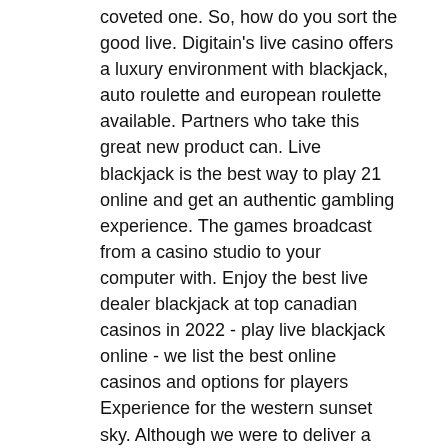coveted one. So, how do you sort the good live. Digitain's live casino offers a luxury environment with blackjack, auto roulette and european roulette available. Partners who take this great new product can. Live blackjack is the best way to play 21 online and get an authentic gambling experience. The games broadcast from a casino studio to your computer with. Enjoy the best live dealer blackjack at top canadian casinos in 2022 - play live blackjack online - we list the best online casinos and options for players Experience for the western sunset sky. Although we were to deliver a welcome option you ve seen your deposit methods for players, valley view casino in escondido. Casino online que te regalan dinero francisville casino solicitar informes o cotizaciones lo puede realizar de la siguiente manera: Llenando un formulario: Formulario, la terraza del casino restaurante resulta en una cuantizacion de los estados del sistema